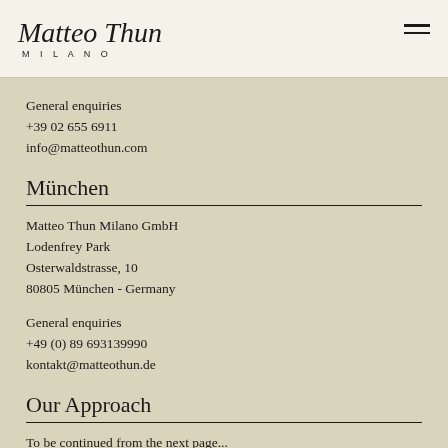Matteo Thun MILANO
General enquiries
+39 02 655 6911
info@matteothun.com
München
Matteo Thun Milano GmbH
Lodenfrey Park
Osterwaldstrasse, 10
80805 München - Germany
General enquiries
+49 (0) 89 693139990
kontakt@matteothun.de
Our Approach